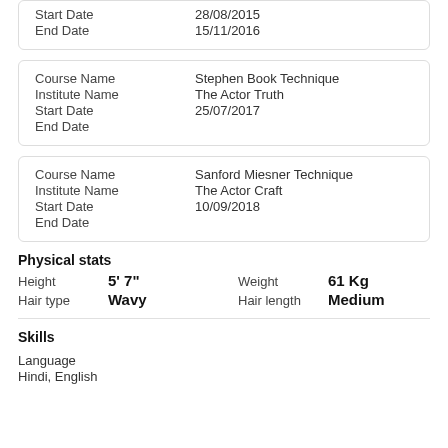| Start Date | 28/08/2015 |
| End Date | 15/11/2016 |
| Course Name | Stephen Book Technique |
| Institute Name | The Actor Truth |
| Start Date | 25/07/2017 |
| End Date |  |
| Course Name | Sanford Miesner Technique |
| Institute Name | The Actor Craft |
| Start Date | 10/09/2018 |
| End Date |  |
Physical stats
| Height | 5' 7" | Weight | 61 Kg |
| Hair type | Wavy | Hair length | Medium |
Skills
Language
Hindi, English